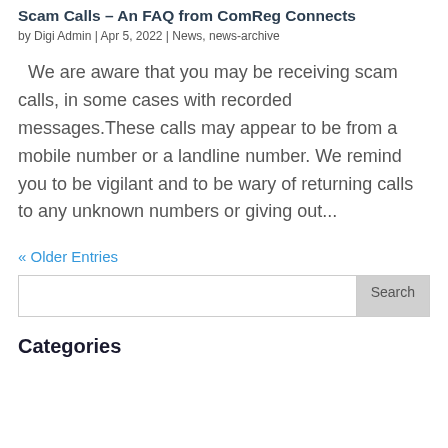Scam Calls – An FAQ from ComReg Connects
by Digi Admin | Apr 5, 2022 | News, news-archive
We are aware that you may be receiving scam calls, in some cases with recorded messages. These calls may appear to be from a mobile number or a landline number. We remind you to be vigilant and to be wary of returning calls to any unknown numbers or giving out...
« Older Entries
Categories